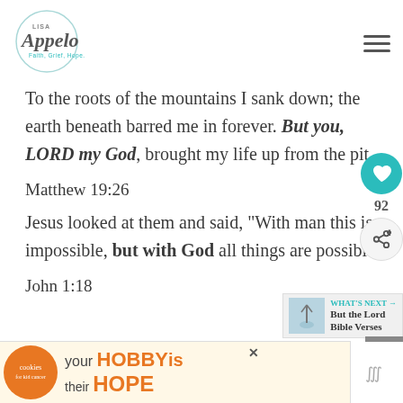Lisa Appelo — Faith, Grief, Hope. [logo + navigation]
To the roots of the mountains I sank down; the earth beneath barred me in forever. But you, LORD my God, brought my life up from the pit.
Matthew 19:26
Jesus looked at them and said, “With man this is impossible, but with God all things are possible.
John 1:18